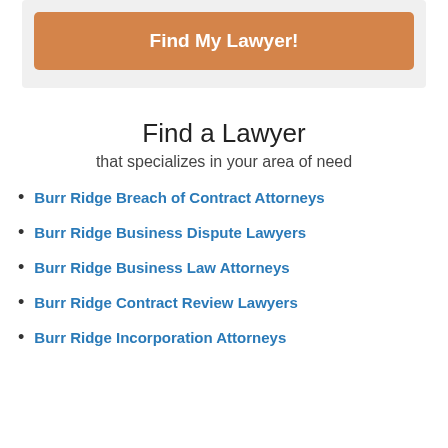[Figure (other): Orange 'Find My Lawyer!' button inside a light gray box]
Find a Lawyer
that specializes in your area of need
Burr Ridge Breach of Contract Attorneys
Burr Ridge Business Dispute Lawyers
Burr Ridge Business Law Attorneys
Burr Ridge Contract Review Lawyers
Burr Ridge Incorporation Attorneys